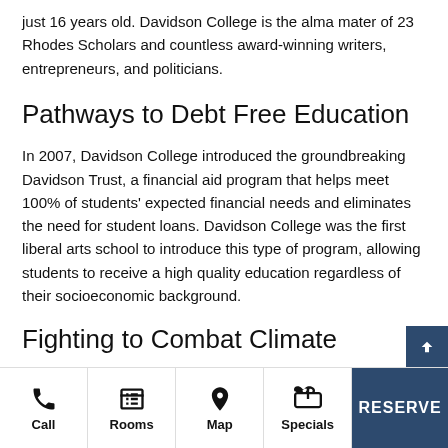just 16 years old. Davidson College is the alma mater of 23 Rhodes Scholars and countless award-winning writers, entrepreneurs, and politicians.
Pathways to Debt Free Education
In 2007, Davidson College introduced the groundbreaking Davidson Trust, a financial aid program that helps meet 100% of students' expected financial needs and eliminates the need for student loans. Davidson College was the first liberal arts school to introduce this type of program, allowing students to receive a high quality education regardless of their socioeconomic background.
Fighting to Combat Climate
Call | Rooms | Map | Specials | RESERVE